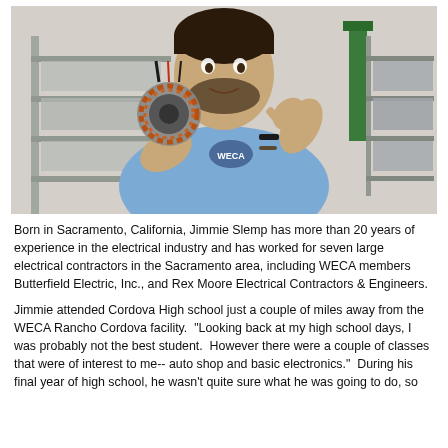[Figure (photo): A man in a blue WECA t-shirt holding up a circular electrical stator/motor component and pointing at it with his other hand. He is in what appears to be a workshop or training facility with metal racks and equipment in the background.]
Born in Sacramento, California, Jimmie Slemp has more than 20 years of experience in the electrical industry and has worked for seven large electrical contractors in the Sacramento area, including WECA members Butterfield Electric, Inc., and Rex Moore Electrical Contractors & Engineers.
Jimmie attended Cordova High school just a couple of miles away from the WECA Rancho Cordova facility.  "Looking back at my high school days, I was probably not the best student.  However there were a couple of classes that were of interest to me-- auto shop and basic electronics."  During his final year of high school, he wasn't quite sure what he was going to do, so